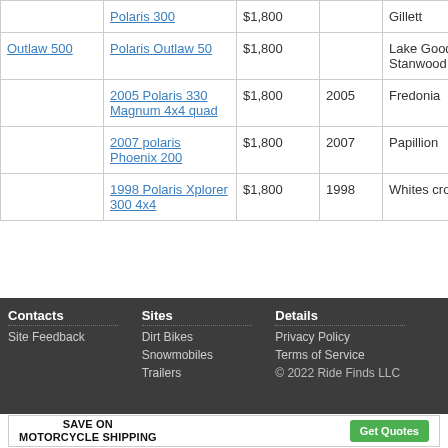|  | Model | Price | Year | Location |  |
| --- | --- | --- | --- | --- | --- |
|  | Polaris 300 | $1,800 |  | Gillett | N |
| Outlaw 500 | Polaris Outlaw 50 | $1,800 |  | Lake Goodwin, Stanwood Area | W |
|  | 2005 Polaris 330 Magnum 4x4 quad | $1,800 | 2005 | Fredonia | N |
|  | 2007 polaris Phoenix 200 | $1,800 | 2007 | Papillion | N |
|  | 1998 Polaris Xplorer 300 4x4 | $1,800 | 1998 | Whites crossing | P |
Contacts: Site Feedback | Sites: Dirt Bikes, Snowmobiles, Trailers | Details: Privacy Policy, Terms of Service, © 2022 Ride Finds LLC
SAVE ON MOTORCYCLE SHIPPING | Get Quotes